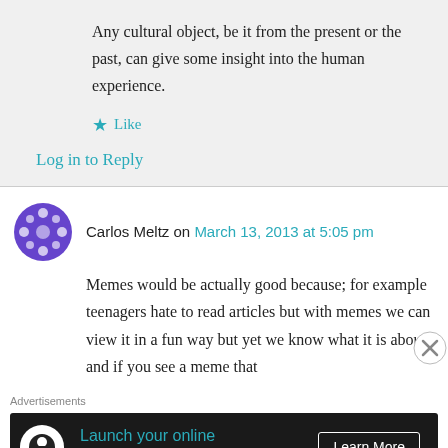Any cultural object, be it from the present or the past, can give some insight into the human experience.
★ Like
Log in to Reply
Carlos Meltz on March 13, 2013 at 5:05 pm
Memes would be actually good because; for example teenagers hate to read articles but with memes we can view it in a fun way but yet we know what it is about and if you see a meme that
Advertisements
[Figure (infographic): Advertisement banner: dark background with circular icon, text 'Launch your online course with WordPress' in teal, and 'Learn More' button on right.]